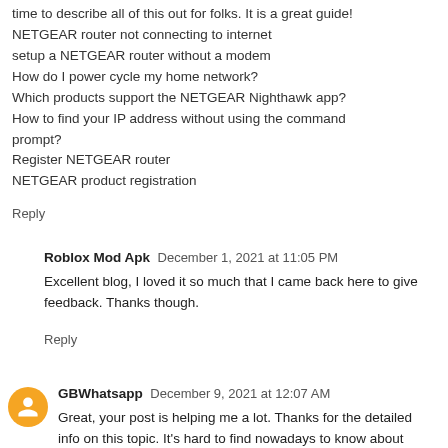time to describe all of this out for folks. It is a great guide!
NETGEAR router not connecting to internet
setup a NETGEAR router without a modem
How do I power cycle my home network?
Which products support the NETGEAR Nighthawk app?
How to find your IP address without using the command prompt?
Register NETGEAR router
NETGEAR product registration
Reply
Roblox Mod Apk December 1, 2021 at 11:05 PM
Excellent blog, I loved it so much that I came back here to give feedback. Thanks though.
Reply
GBWhatsapp December 9, 2021 at 12:07 AM
Great, your post is helping me a lot. Thanks for the detailed info on this topic. It's hard to find nowadays to know about